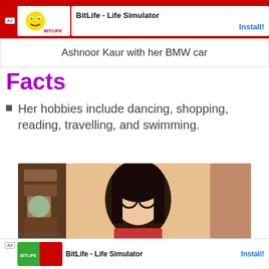[Figure (screenshot): BitLife - Life Simulator advertisement banner with red background and app icon]
Ashnoor Kaur with her BMW car
Facts
Her hobbies include dancing, shopping, reading, travelling, and swimming.
[Figure (photo): Photo of a young woman with black hair and glasses, looking down]
Advertisement
[Figure (screenshot): BitLife - Life Simulator advertisement banner]